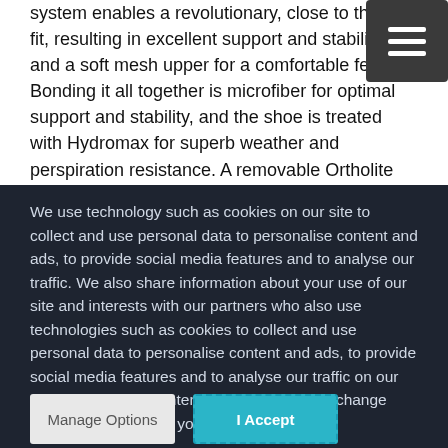system enables a revolutionary, close to the foot fit, resulting in excellent support and stability, and a soft mesh upper for a comfortable feel. Bonding it all together is microfiber for optimal support and stability, and the shoe is treated with Hydromax for superb weather and perspiration resistance. A removable Ortholite inlay sole offers long-term cushioning, enhanced breathability, antimicrobial function and the option of...
We use technology such as cookies on our site to collect and use personal data to personalise content and ads, to provide social media features and to analyse our traffic. We also share information about your use of our site and interests with our partners who also use technologies such as cookies to collect and use personal data to personalise content and ads, to provide social media features and to analyse our traffic on our site and across the internet. You can always change your mind and revisit your choices.